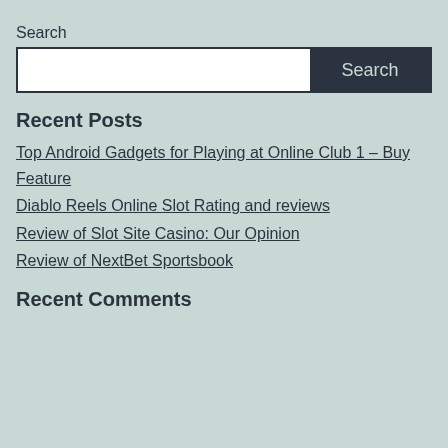Search
[Figure (other): Search input box with white text field on left and dark navy Search button on right]
Recent Posts
Top Android Gadgets for Playing at Online Club 1 – Buy Feature
Diablo Reels Online Slot Rating and reviews
Review of Slot Site Casino: Our Opinion
Review of NextBet Sportsbook
Recent Comments